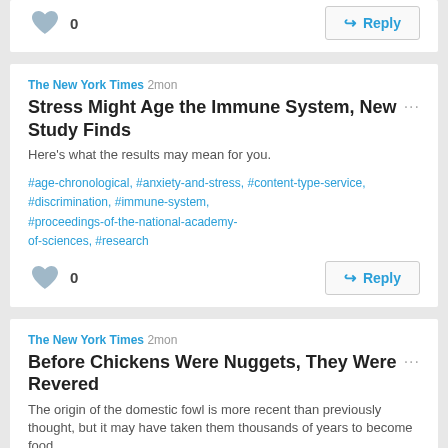0
Reply
The New York Times 2mon
Stress Might Age the Immune System, New Study Finds
Here's what the results may mean for you.
#age-chronological, #anxiety-and-stress, #content-type-service, #discrimination, #immune-system, #proceedings-of-the-national-academy-of-sciences, #research
0
Reply
The New York Times 2mon
Before Chickens Were Nuggets, They Were Revered
The origin of the domestic fowl is more recent than previously thought, but it may have taken them thousands of years to become food.
#animal-behavior, #antiquity-journal, #archaeology-and-anthropology, #carbon-dating, #chickens, #fossils, #proceedings-of-the-national-academy-of-sciences, #research, #thailand, #your-feed-animals, #your-feed-science
0
Reply